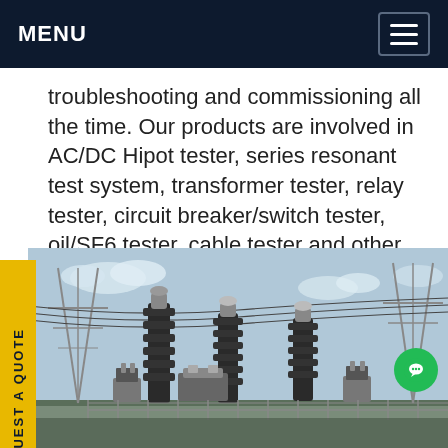MENU
troubleshooting and commissioning all the time. Our products are involved in AC/DC Hipot tester, series resonant test system, transformer tester, relay tester, circuit breaker/switch tester, oil/SF6 tester, cable tester and other electric instruments, widely adapted to electric power, water conservation, oil way, mine, chemical.Get price
[Figure (photo): Electrical power substation with high-voltage equipment including insulators, bushings, transformers, circuit breakers and transmission line towers against a sky background]